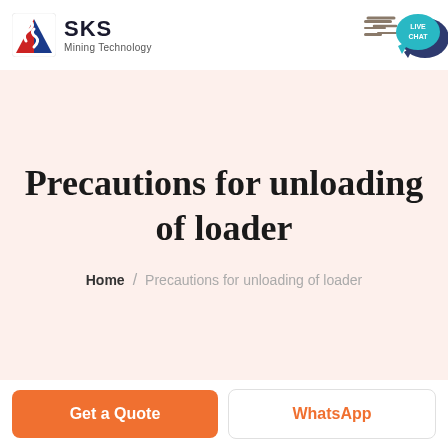[Figure (logo): SKS Mining Technology logo with red and blue stylized arrow/S icon and company name]
[Figure (illustration): Live chat speech bubble icon in teal with LIVE CHAT text, and three horizontal speed lines in brown/gray to the left]
Precautions for unloading of loader
Home / Precautions for unloading of loader
Get a Quote
WhatsApp